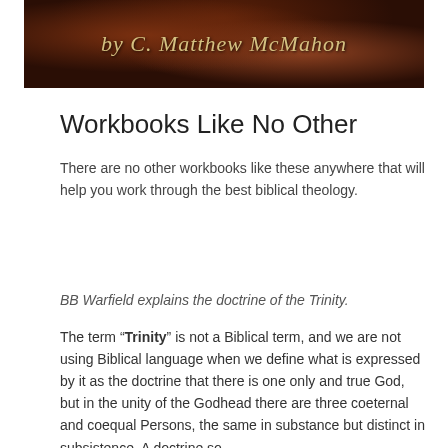[Figure (illustration): A dark-toned banner image with a painting-like background in dark reds and browns, with italic script text reading 'by C. Matthew McMahon' in golden/cream color.]
Workbooks Like No Other
There are no other workbooks like these anywhere that will help you work through the best biblical theology.
BB Warfield explains the doctrine of the Trinity.
The term “Trinity” is not a Biblical term, and we are not using Biblical language when we define what is expressed by it as the doctrine that there is one only and true God, but in the unity of the Godhead there are three coeternal and coequal Persons, the same in substance but distinct in subsistence. A doctrine so